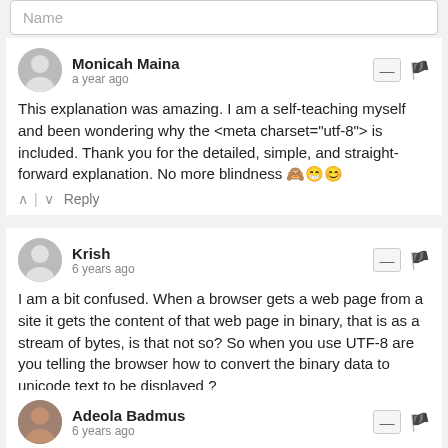Name
Monicah Maina
a year ago
This explanation was amazing. I am a self-teaching myself and been wondering why the <meta charset="utf-8"> is included. Thank you for the detailed, simple, and straight-forward explanation. No more blindness 🙈😁😊
Reply
Krish
6 years ago
I am a bit confused. When a browser gets a web page from a site it gets the content of that web page in binary, that is as a stream of bytes, is that not so? So when you use UTF-8 are you telling the browser how to convert the binary data to unicode text to be displayed ?
Reply
Adeola Badmus
6 years ago